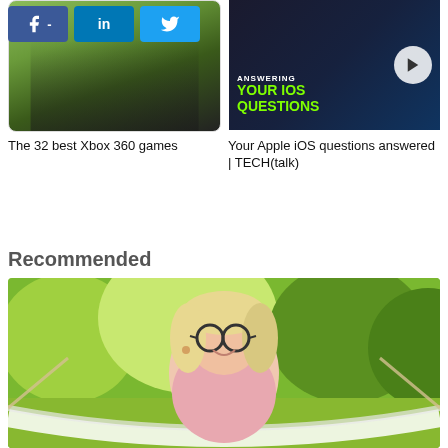[Figure (screenshot): Social media share buttons: Facebook (f), LinkedIn (in), Twitter bird icon]
[Figure (photo): Thumbnail image for Xbox 360 games article showing outdoor scene]
The 32 best Xbox 360 games
[Figure (screenshot): Video thumbnail with text ANSWERING YOUR iOS QUESTIONS and a play button]
Your Apple iOS questions answered | TECH(talk)
Recommended
[Figure (photo): Photo of a smiling middle-aged blonde woman with glasses sitting in a hammock outdoors with green trees in background]